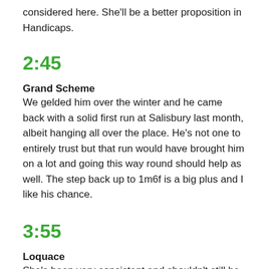considered here. She'll be a better proposition in Handicaps.
2:45
Grand Scheme
We gelded him over the winter and he came back with a solid first run at Salisbury last month, albeit hanging all over the place. He's not one to entirely trust but that run would have brought him on a lot and going this way round should help as well. The step back up to 1m6f is a big plus and I like his chance.
3:55
Loquace
She's been very consistent and shouldn't still be a Maiden but ran well at Leicester last time and Liam